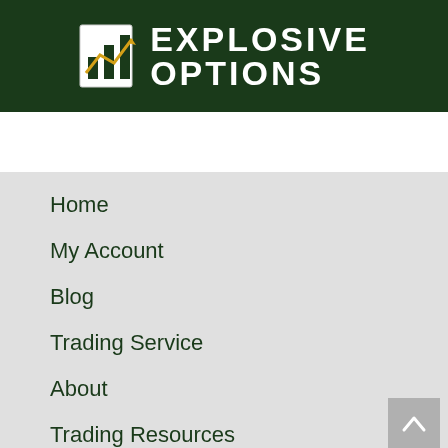[Figure (logo): Explosive Options logo with bar chart icon and upward trending arrow on dark green background]
Home
My Account
Blog
Trading Service
About
Trading Resources